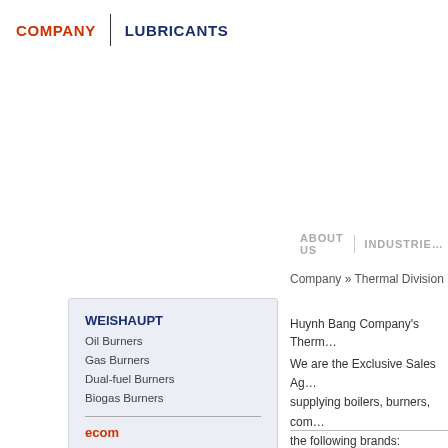COMPANY | LUBRICANTS
ABOUT US | INDUSTRIES
Company » Thermal Division
Huynh Bang Company's Therm...
We are the Exclusive Sales Ag... supplying boilers, burners, com... the following brands:
WEISHAUPT
Oil Burners
Gas Burners
Dual-fuel Burners
Biogas Burners
ecom
Flue Gas Analysis
Infrared Temperature
Gas Leakage Detection
Pressure Measurement